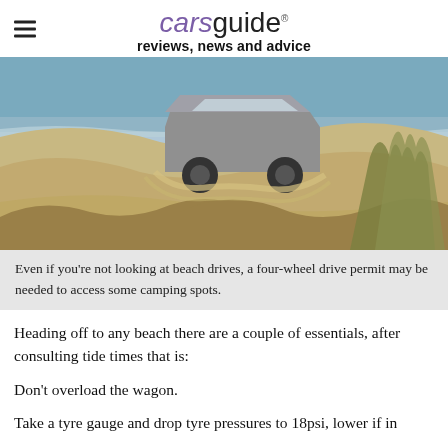carsguide reviews, news and advice
[Figure (photo): A four-wheel drive SUV driving through sandy beach dunes with the ocean visible in the background]
Even if you're not looking at beach drives, a four-wheel drive permit may be needed to access some camping spots.
Heading off to any beach there are a couple of essentials, after consulting tide times that is:
Don't overload the wagon.
Take a tyre gauge and drop tyre pressures to 18psi, lower if in